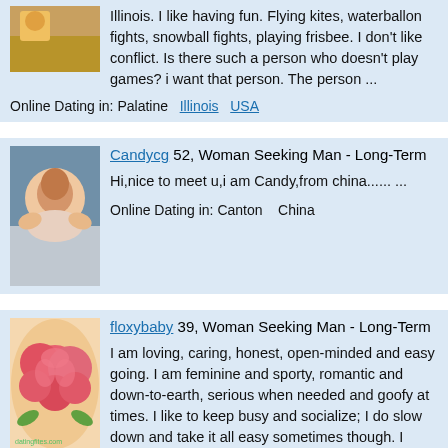Illinois. I like having fun. Flying kites, waterballon fights, snowball fights, playing frisbee. I don't like conflict. Is there such a person who doesn't play games? i want that person. The person ...
Online Dating in: Palatine  Illinois  USA
[Figure (photo): Profile photo of Candycg - woman posing with hands on cheeks]
Candycg 52, Woman Seeking Man - Long-Term
Hi,nice to meet u,i am Candy,from china...... ...
Online Dating in: Canton    China
[Figure (photo): Profile photo of floxybaby - pink roses image with watermark]
floxybaby 39, Woman Seeking Man - Long-Term
I am loving, caring, honest, open-minded and easy going. I am feminine and sporty, romantic and down-to-earth, serious when needed and goofy at times. I like to keep busy and socialize; I do slow down and take it all easy sometimes though. I equally enjoy ...
Online Dating in: dallas  Texas  USA